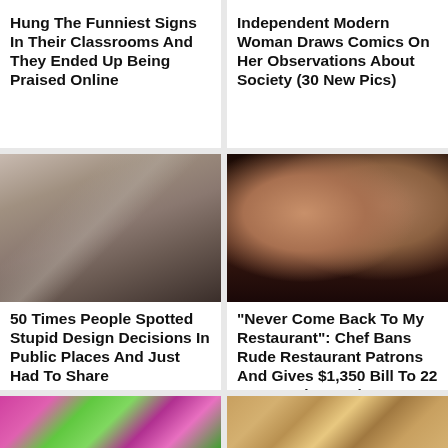Hung The Funniest Signs In Their Classrooms And They Ended Up Being Praised Online
Independent Modern Woman Draws Comics On Her Observations About Society (30 New Pics)
[Figure (photo): Person peeking through a gap in bathroom stall partitions]
50 Times People Spotted Stupid Design Decisions In Public Places And Just Had To Share
[Figure (photo): Couple smiling at camera, woman with red lipstick and man in red jacket]
"Never Come Back To My Restaurant": Chef Bans Rude Restaurant Patrons And Gives $1,350 Bill To 22 Y.O. Employee They Disrespected
[Figure (photo): Flowers and person, partial strip at bottom]
[Figure (photo): Wooden surface, partial strip at bottom]